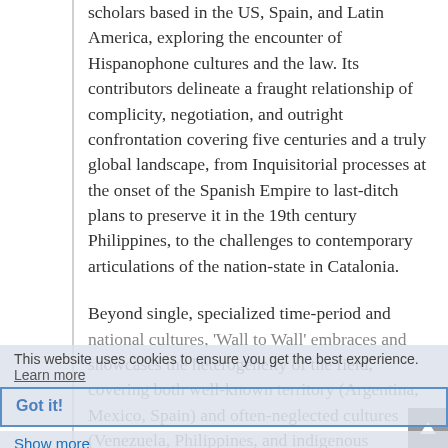scholars based in the US, Spain, and Latin America, exploring the encounter of Hispanophone cultures and the law. Its contributors delineate a fraught relationship of complicity, negotiation, and outright confrontation covering five centuries and a truly global landscape, from Inquisitorial processes at the onset of the Spanish Empire to last-ditch plans to preserve it in the 19th century Philippines, to the challenges to contemporary articulations of the nation-state in Catalonia.
Beyond single, specialized time-period and national cultures, 'Wall to Wall' embraces and showcases the heterogeneity of the field, covering both well-known territory (Argentina, Mexico, Spain) and often-neglected cultures (Venezuela, Philippines, and indigenous communities in the Yucatan area), as w...
This website uses cookies to ensure you get the best experience. Learn more
Got it!
Show more